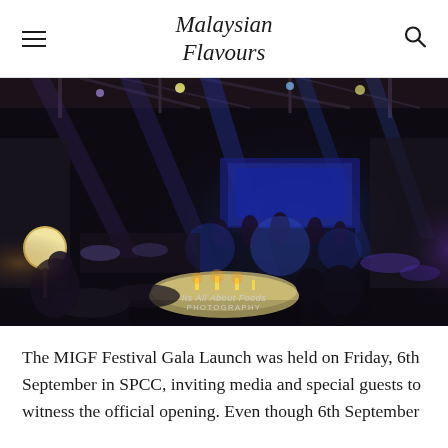Malaysian Flavours
[Figure (photo): Interior of a large event hall set up for a gala dinner. Round tables with white chair covers and candle centerpieces fill the foreground. A stage with blue and purple stage lighting and a band is visible in the background. Photo credit: Its All About Foods Photography.]
The MIGF Festival Gala Launch was held on Friday, 6th September in SPCC, inviting media and special guests to witness the official opening. Even though 6th September